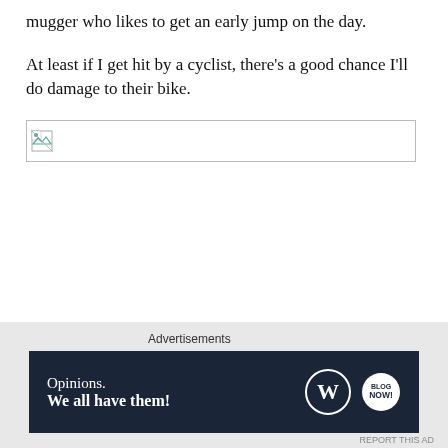mugger who likes to get an early jump on the day.
At least if I get hit by a cyclist, there’s a good chance I’ll do damage to their bike.
[Figure (other): Broken/missing image placeholder with small icon in top-left corner]
[Figure (other): Close/dismiss button circle with X]
Advertisements
[Figure (other): Advertisement banner with dark navy background. Text: 'Opinions. We all have them!' with WordPress logo and small secondary logo on the right.]